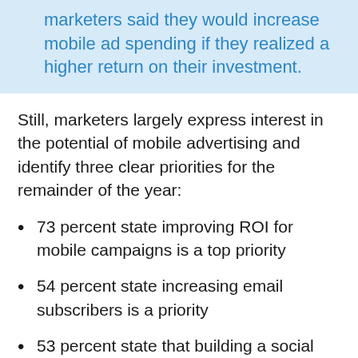marketers said they would increase mobile ad spending if they realized a higher return on their investment.
Still, marketers largely express interest in the potential of mobile advertising and identify three clear priorities for the remainder of the year:
73 percent state improving ROI for mobile campaigns is a top priority
54 percent state increasing email subscribers is a priority
53 percent state that building a social